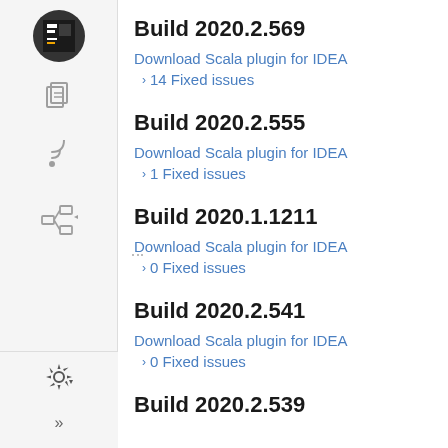Build 2020.2.569
Download Scala plugin for IDEA
14 Fixed issues
Build 2020.2.555
Download Scala plugin for IDEA
1 Fixed issues
Build 2020.1.1211
Download Scala plugin for IDEA
0 Fixed issues
Build 2020.2.541
Download Scala plugin for IDEA
0 Fixed issues
Build 2020.2.539